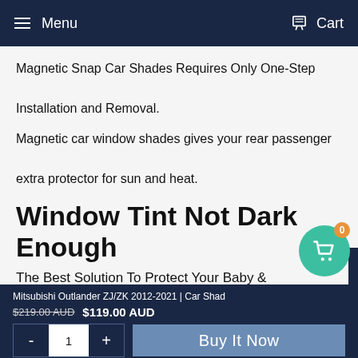Menu  Cart
Magnetic Snap Car Shades Requires Only One-Step Installation and Removal.
Magnetic car window shades gives your rear passenger extra protector for sun and heat.
Window Tint Not Dark Enough
The Best Solution To Protect Your Baby & Child From Direct Sun Light When Window Tint Not enough, And It is Completely Legal.
Mitsubishi Outlander ZJ/ZK 2012-2021 | Car Shad  $219.00 AUD  $119.00 AUD  - 1 +  Buy It Now